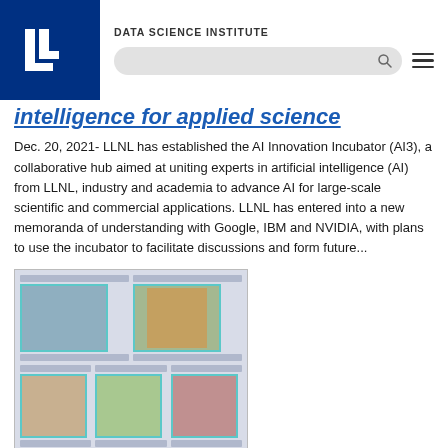DATA SCIENCE INSTITUTE
intelligence for applied science
Dec. 20, 2021- LLNL has established the AI Innovation Incubator (AI3), a collaborative hub aimed at uniting experts in artificial intelligence (AI) from LLNL, industry and academia to advance AI for large-scale scientific and commercial applications. LLNL has entered into a new memoranda of understanding with Google, IBM and NVIDIA, with plans to use the incubator to facilitate discussions and form future...
[Figure (photo): Grid of five headshot photos of panelists on a blue/grey patterned background with DSI logos]
Career panel spotlights diversity, equity, and inclusion